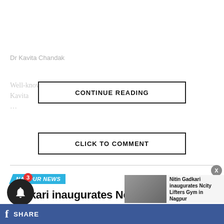Dr Kavita Chandak
Well-known homeopathic physician from Nagpur ? Dr Kavita ... Istanbul ...
CONTINUE READING
CLICK TO COMMENT
NAGPUR NEWS
Gadkari inaugurates Ncity Lifters
Nitin Gadkari inaugurates Ncity Lifters Gym in Nagpur